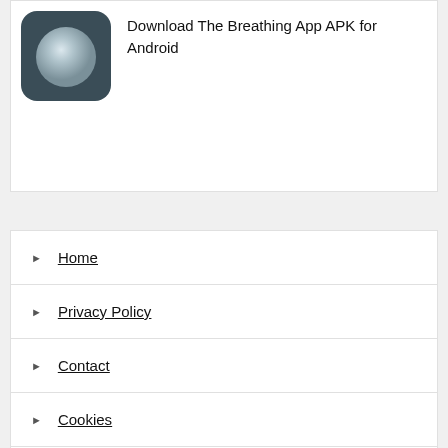[Figure (illustration): App icon showing a grey sphere on a dark blue-grey background]
Download The Breathing App APK for Android
Home
Privacy Policy
Contact
Cookies
DMCA